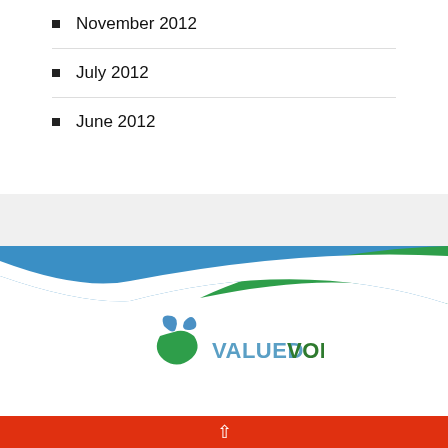November 2012
July 2012
June 2012
[Figure (logo): ValuedVoice logo with blue and green leaf icons and company name in two colors]
^